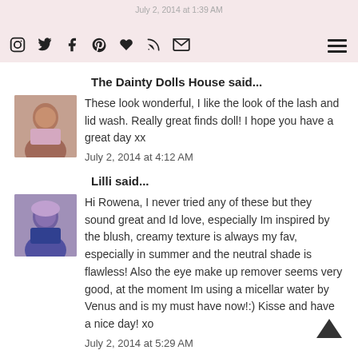July 2, 2014 at 1:39 AM
The Dainty Dolls House said...
These look wonderful, I like the look of the lash and lid wash. Really great finds doll! I hope you have a great day xx
July 2, 2014 at 4:12 AM
Lilli said...
Hi Rowena, I never tried any of these but they sound great and Id love, especially Im inspired by the blush, creamy texture is always my fav, especially in summer and the neutral shade is flawless! Also the eye make up remover seems very good, at the moment Im using a micellar water by Venus and is my must have now!:) Kisse and have a nice day! xo
July 2, 2014 at 5:29 AM